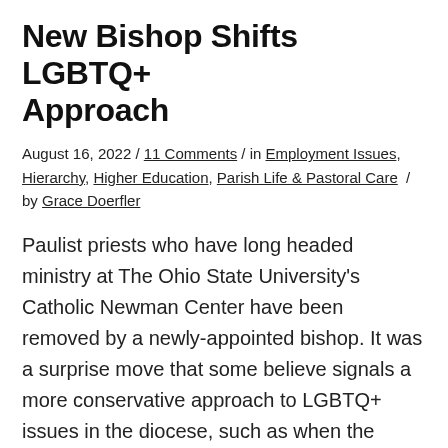New Bishop Shifts LGBTQ+ Approach
August 16, 2022 / 11 Comments / in Employment Issues, Hierarchy, Higher Education, Parish Life & Pastoral Care / by Grace Doerfler
Paulist priests who have long headed ministry at The Ohio State University's Catholic Newman Center have been removed by a newly-appointed bishop. It was a surprise move that some believe signals a more conservative approach to LGBTQ+ issues in the diocese, such as when the words "All Are Welcome" were removed from the Center's signage. Read More
First World Day for